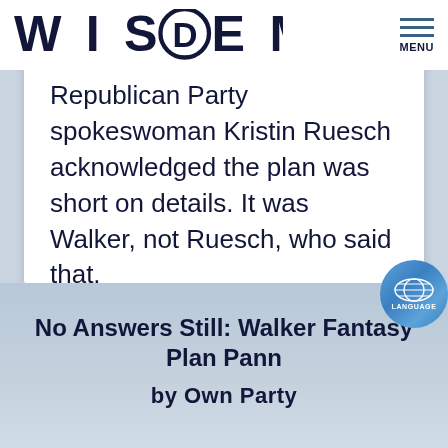WIS DEMS — MENU
Republican Party spokeswoman Kristin Ruesch acknowledged the plan was short on details. It was Walker, not Ruesch, who said that.
No Answers Still: Walker Fantasy Plan Pann by Own Party